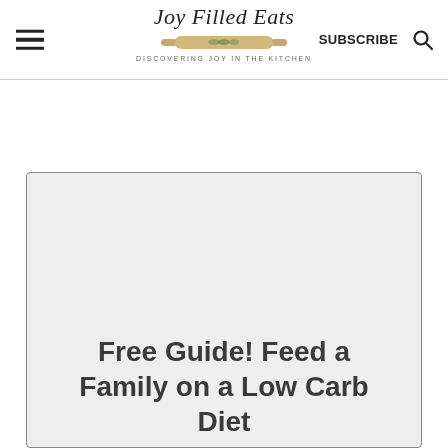Joy Filled Eats — DISCOVERING JOY IN THE KITCHEN — SUBSCRIBE
[Figure (screenshot): Gray placeholder card with title text: Free Guide! Feed a Family on a Low Carb Diet]
Free Guide! Feed a Family on a Low Carb Diet